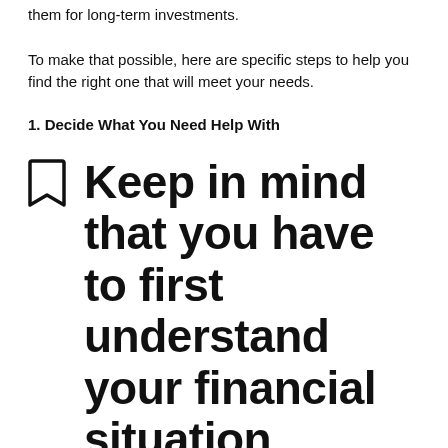them for long-term investments.
To make that possible, here are specific steps to help you find the right one that will meet your needs.
1. Decide What You Need Help With
Keep in mind that you have to first understand your financial situation before talking to an